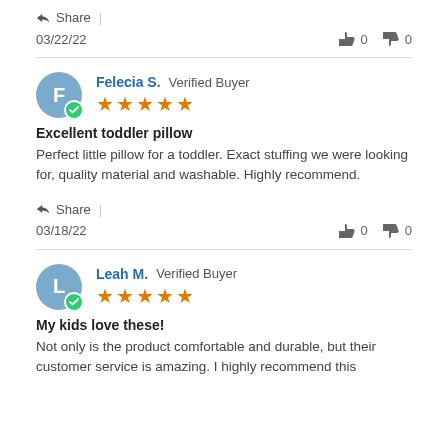Share |
03/22/22   👍 0   👎 0
Felecia S. Verified Buyer ★★★★★
Excellent toddler pillow
Perfect little pillow for a toddler. Exact stuffing we were looking for, quality material and washable. Highly recommend.
Share |
03/18/22   👍 0   👎 0
Leah M. Verified Buyer ★★★★★
My kids love these!
Not only is the product comfortable and durable, but their customer service is amazing. I highly recommend this